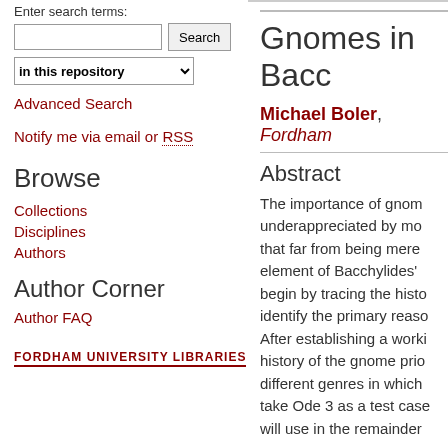Enter search terms:
Search | in this repository
Advanced Search
Notify me via email or RSS
Browse
Collections
Disciplines
Authors
Author Corner
Author FAQ
FORDHAM UNIVERSITY LIBRARIES
Gnomes in Bacc...
Michael Boler, Fordham...
Abstract
The importance of gnom... underappreciated by mo... that far from being mere... element of Bacchylides'... begin by tracing the histo... identify the primary reaso... After establishing a worki... history of the gnome prio... different genres in which... take Ode 3 as a test case... will use in the remainder...